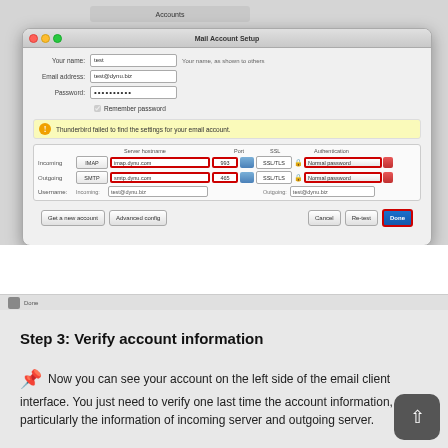[Figure (screenshot): Mac OS X Thunderbird Mail Account Setup dialog showing fields for incoming (IMAP, imap.dynu.com, port 993, SSL/TLS, Normal password) and outgoing (SMTP, smtp.dynu.com, port 465, SSL/TLS, Normal password) server settings, with red highlight boxes around server hostnames, ports, and authentication fields, and a Done button highlighted in red. Above shows an Accounts panel. Below the dialog is a browser status bar showing 'Done'.]
Step 3: Verify account information
Now you can see your account on the left side of the email client interface. You just need to verify one last time the account information, particularly the information of incoming server and outgoing server.